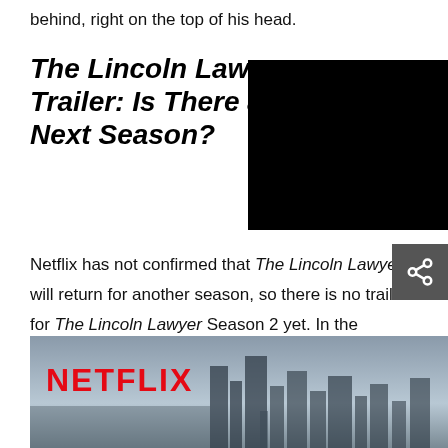behind, right on the top of his head.
The Lincoln Lawyer Trailer: Is There a Trailer Next Season?
[Figure (photo): Black rectangle placeholder image on the right side of the title]
Netflix has not confirmed that The Lincoln Lawyer will return for another season, so there is no trailer for The Lincoln Lawyer Season 2 yet. In the meantime, here is the trailer for the first season, in case you want to review the events:
[Figure (photo): Netflix branded image with city skyline in the background]